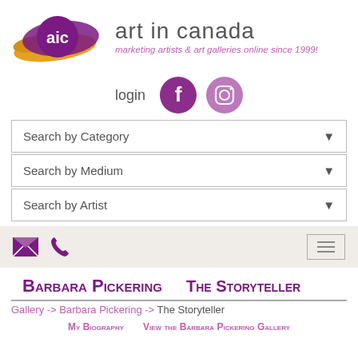[Figure (logo): Art in Canada logo with purple and orange brushstroke graphic, 'aic' text in purple circle, 'art in canada' text and tagline 'marketing artists & art galleries online since 1999!']
[Figure (illustration): Login text with Facebook and Instagram social media icons in purple]
Search by Category
Search by Medium
Search by Artist
[Figure (illustration): Bottom navigation bar with envelope icon, phone icon, and hamburger menu button on beige background]
Barbara Pickering   The Storyteller
Gallery -> Barbara Pickering -> The Storyteller
My Biography   View the Barbara Pickering Gallery